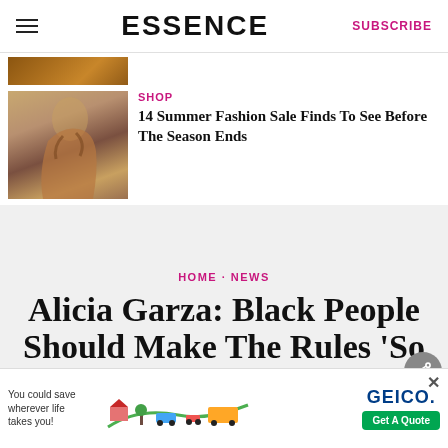ESSENCE | SUBSCRIBE
[Figure (photo): Cropped top portion of a photo showing golden-brown textured background]
[Figure (photo): Photo of a Black woman in a brown/gold patterned dress with arms crossed, touching her neck]
SHOP
14 Summer Fashion Sale Finds To See Before The Season Ends
HOME · NEWS
Alicia Garza: Black People Should Make The Rules 'So We Not Caught in the Changing
[Figure (infographic): GEICO advertisement banner: You could save wherever life takes you! Get A Quote]